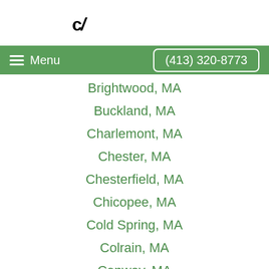[Figure (logo): Company logo with stylized 'c/' text in bold black]
Menu  (413) 320-8773
Brightwood, MA
Buckland, MA
Charlemont, MA
Chester, MA
Chesterfield, MA
Chicopee, MA
Cold Spring, MA
Colrain, MA
Conway, MA
Crescent Mills, MA